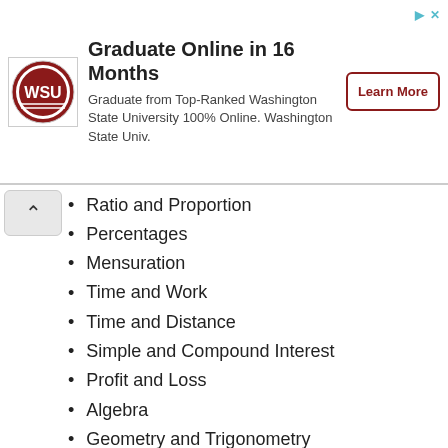[Figure (logo): Washington State University logo - circular red and white WSU emblem]
Graduate Online in 16 Months
Graduate from Top-Ranked Washington State University 100% Online. Washington State Univ.
Learn More
Ratio and Proportion
Percentages
Mensuration
Time and Work
Time and Distance
Simple and Compound Interest
Profit and Loss
Algebra
Geometry and Trigonometry
Elementary Statistics
Square root
Age Calculations
Calender & Clock